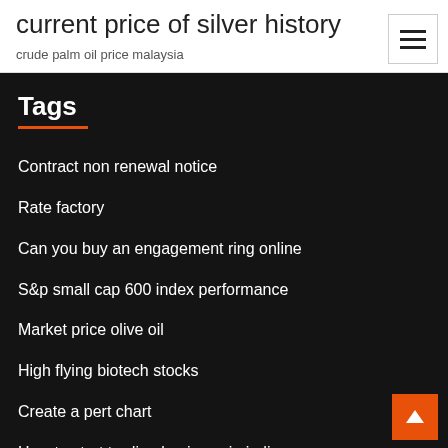current price of silver history
crude palm oil price malaysia
Tags
Contract non renewal notice
Rate factory
Can you buy an engagement ring online
S&p small cap 600 index performance
Market price olive oil
High flying biotech stocks
Create a pert chart
How to start trading business in india